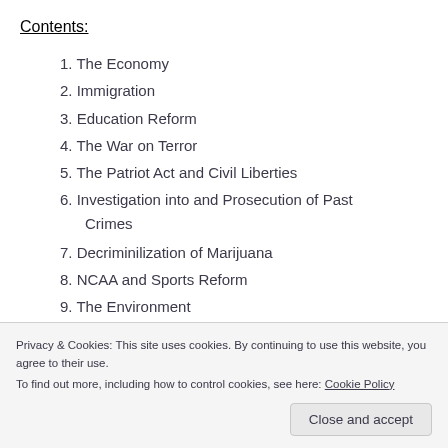Contents:
1. The Economy
2. Immigration
3. Education Reform
4. The War on Terror
5. The Patriot Act and Civil Liberties
6. Investigation into and Prosecution of Past Crimes
7. Decriminilization of Marijuana
8. NCAA and Sports Reform
9. The Environment
Privacy & Cookies: This site uses cookies. By continuing to use this website, you agree to their use.
To find out more, including how to control cookies, see here: Cookie Policy